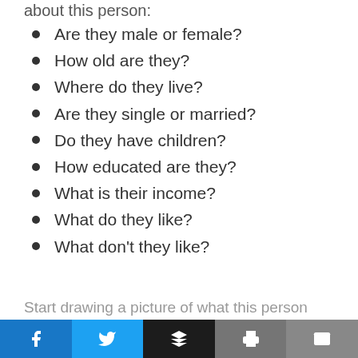about this person:
Are they male or female?
How old are they?
Where do they live?
Are they single or married?
Do they have children?
How educated are they?
What is their income?
What do they like?
What don't they like?
Start drawing a picture of what this person
[Figure (infographic): Social sharing bar with Facebook, Twitter, Buffer, Print, and Email buttons]